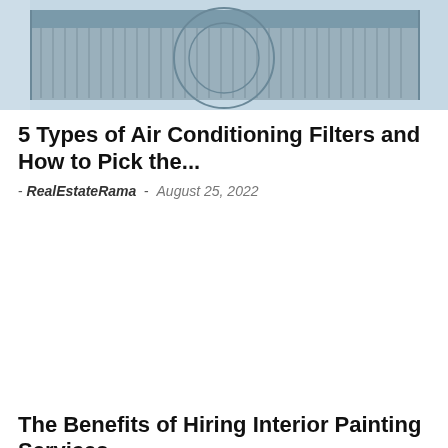[Figure (photo): Exterior photo of air conditioning HVAC units on a building rooftop, showing metal grilles and industrial equipment against a light blue sky]
5 Types of Air Conditioning Filters and How to Pick the...
- RealEstateRama  -  August 25, 2022
The Benefits of Hiring Interior Painting Services...